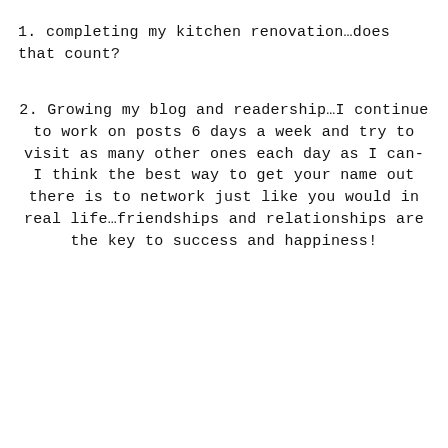1. completing my kitchen renovation…does that count?
2. Growing my blog and readership…I continue to work on posts 6 days a week and try to visit as many other ones each day as I can- I think the best way to get your name out there is to network just like you would in real life…friendships and relationships are the key to success and happiness!